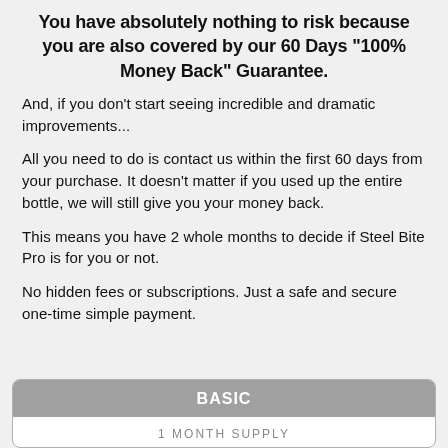You have absolutely nothing to risk because you are also covered by our 60 Days "100% Money Back" Guarantee.
And, if you don't start seeing incredible and dramatic improvements...
All you need to do is contact us within the first 60 days from your purchase. It doesn't matter if you used up the entire bottle, we will still give you your money back.
This means you have 2 whole months to decide if Steel Bite Pro is for you or not.
No hidden fees or subscriptions. Just a safe and secure one-time simple payment.
| BASIC |
| --- |
| 1 MONTH SUPPLY |